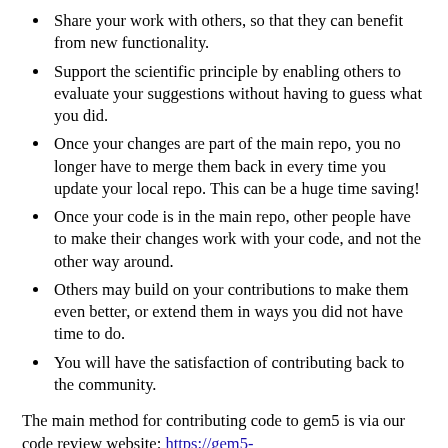Share your work with others, so that they can benefit from new functionality.
Support the scientific principle by enabling others to evaluate your suggestions without having to guess what you did.
Once your changes are part of the main repo, you no longer have to merge them back in every time you update your local repo. This can be a huge time saving!
Once your code is in the main repo, other people have to make their changes work with your code, and not the other way around.
Others may build on your contributions to make them even better, or extend them in ways you did not have time to do.
You will have the satisfaction of contributing back to the community.
The main method for contributing code to gem5 is via our code review website: https://gem5-review.googlesource.com/. This documents describes the details of how to create code changes, upload your changes, have your changes reviewed, and finally push your changes to gem5. More information can